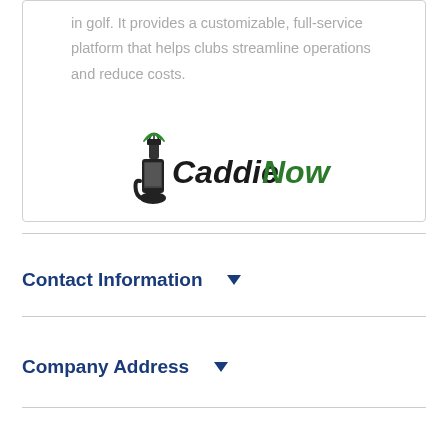in golf. It provides a customizable, full-service platform that helps clubs streamline operations and reduce costs.
[Figure (logo): CaddieNow logo with a hand holding a mobile phone and golf bag icon, text reads 'CaddieNow' in black and green italic font]
Contact Information ▾
Company Address ▾